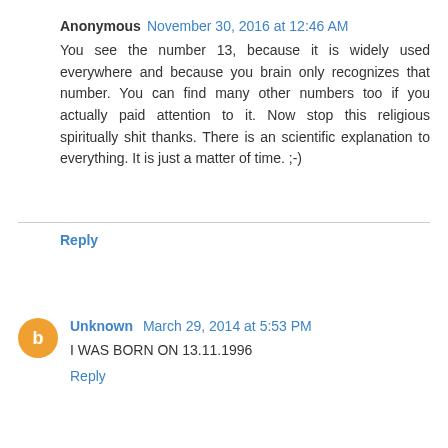Anonymous November 30, 2016 at 12:46 AM
You see the number 13, because it is widely used everywhere and because you brain only recognizes that number. You can find many other numbers too if you actually paid attention to it. Now stop this religious spiritually shit thanks. There is an scientific explanation to everything. It is just a matter of time. ;-)
Reply
Unknown March 29, 2014 at 5:53 PM
I WAS BORN ON 13.11.1996
Reply